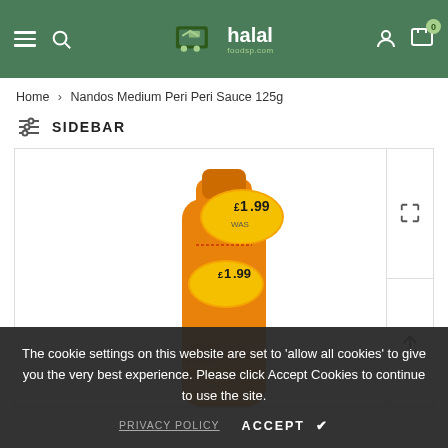halal foodsp.com — navigation header with hamburger menu, search, logo, account, and cart (0 items)
Home > Nandos Medium Peri Peri Sauce 125g
SIDEBAR
[Figure (photo): Nandos Medium Peri Peri Sauce 125g bottle showing top portion with orange label and two £1.99 price stickers, on white background. Zoom and fullscreen icons on the right side.]
The cookie settings on this website are set to 'allow all cookies' to give you the very best experience. Please click Accept Cookies to continue to use the site.
PRIVACY POLICY    ACCEPT ✔